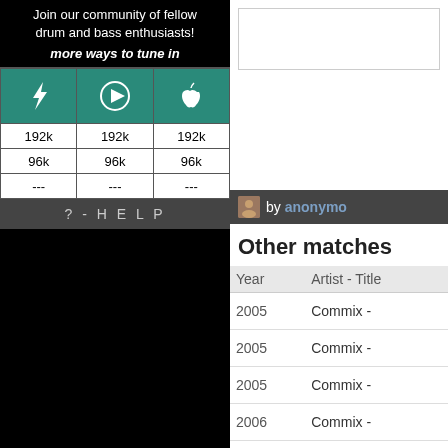Join our community of fellow drum and bass enthusiasts!
more ways to tune in
|  |  |  |
| --- | --- | --- |
| [icon] | [icon] | [icon] |
| 192k | 192k | 192k |
| 96k | 96k | 96k |
| --- | --- | --- |
? - H E L P
by anonymo...
Other matches
| Year | Artist - Title |
| --- | --- |
| 2005 | Commix - |
| 2005 | Commix - |
| 2005 | Commix - |
| 2006 | Commix - |
| 2016 | Commix - |
| 2016 | Commix - |
| 2006 | Commix - |
| 2008 | Commix - |